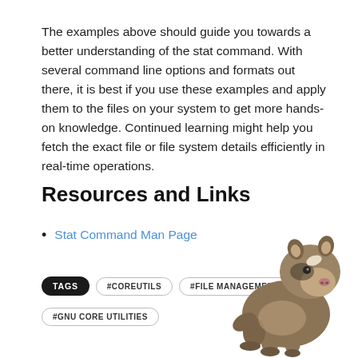The examples above should guide you towards a better understanding of the stat command. With several command line options and formats out there, it is best if you use these examples and apply them to the files on your system to get more hands-on knowledge. Continued learning might help you fetch the exact file or file system details efficiently in real-time operations.
Resources and Links
Stat Command Man Page
TAGS #COREUTILS #FILE MANAGEMENT #GNU CORE UTILITIES